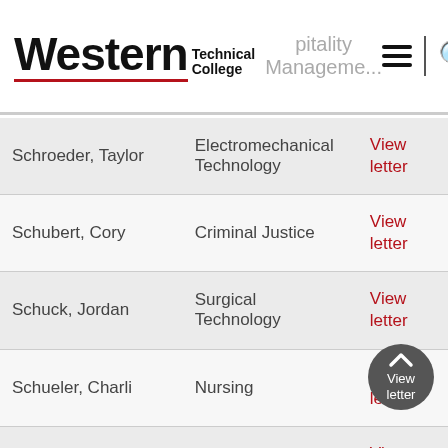Western Technical College
| Name | Program | Link |
| --- | --- | --- |
| Schroeder, Taylor | Electromechanical Technology | View letter |
| Schubert, Cory | Criminal Justice | View letter |
| Schuck, Jordan | Surgical Technology | View letter |
| Schueler, Charli | Nursing | View letter |
| Schuelke, Samantha | Business Specialist | View letter |
| Schulte, Michael | Diesel & Heavy Equipment Technician | View letter |